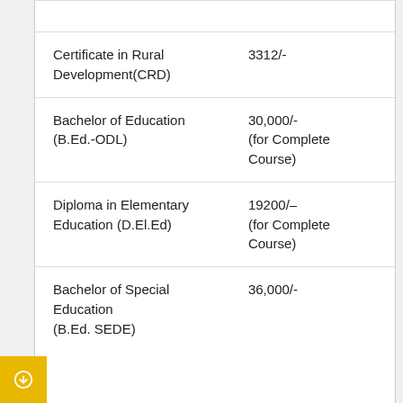| Course | Fee |
| --- | --- |
| Certificate in Rural Development(CRD) | 3312/- |
| Bachelor of Education (B.Ed.-ODL) | 30,000/-
(for Complete Course) |
| Diploma in Elementary Education (D.El.Ed) | 19200/–
(for Complete Course) |
| Bachelor of Special Education (B.Ed. SEDE) | 36,000/- |